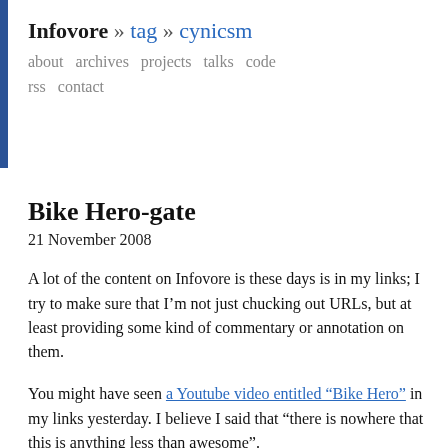Infovore » tag » cynicsm
about  archives  projects  talks  code  rss  contact
Bike Hero-gate
21 November 2008
A lot of the content on Infovore is these days is in my links; I try to make sure that I'm not just chucking out URLs, but at least providing some kind of commentary or annotation on them.
You might have seen a Youtube video entitled “Bike Hero” in my links yesterday. I believe I said that “there is nowhere that this is anything less than awesome”.